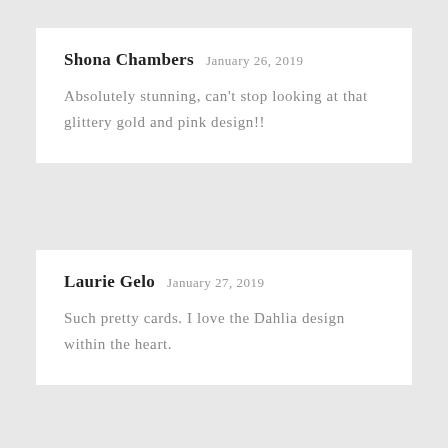Shona Chambers  January 26, 2019
Absolutely stunning, can't stop looking at that glittery gold and pink design!!
Laurie Gelo  January 27, 2019
Such pretty cards. I love the Dahlia design within the heart.